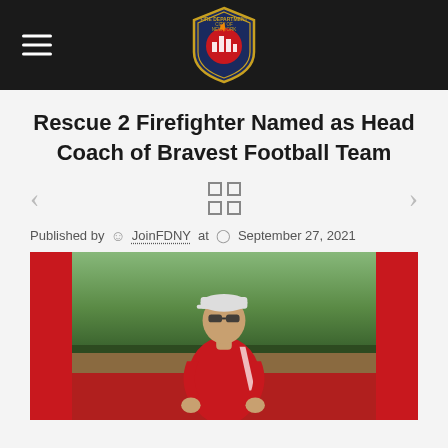FDNY website header with logo and navigation
Rescue 2 Firefighter Named as Head Coach of Bravest Football Team
[Figure (other): Gallery navigation with grid view icon, left and right arrows]
Published by JoinFDNY at September 27, 2021
[Figure (photo): Man in red coaching polo shirt and baseball cap walking on a sports track, with red panels on left and right sides of image]